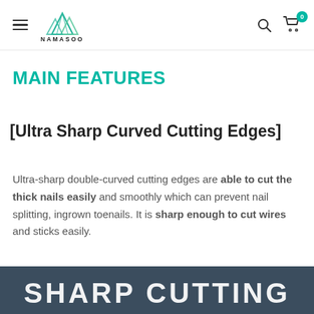NAMASOO
MAIN FEATURES
[Ultra Sharp Curved Cutting Edges]
Ultra-sharp double-curved cutting edges are able to cut the thick nails easily and smoothly which can prevent nail splitting, ingrown toenails. It is sharp enough to cut wires and sticks easily.
[Figure (photo): Bottom banner with text SHARP CUTTING in large white bold letters on dark blue/grey background]